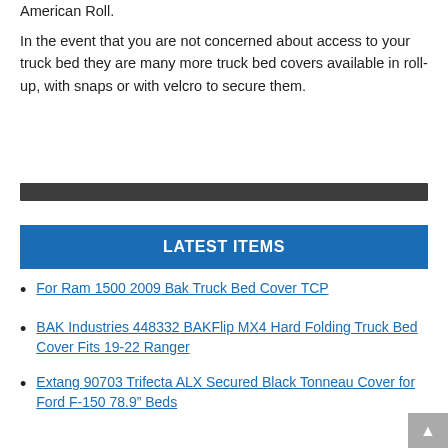American Roll.
In the event that you are not concerned about access to your truck bed they are many more truck bed covers available in roll-up, with snaps or with velcro to secure them.
[Figure (other): Dark gray horizontal divider bar]
LATEST ITEMS
For Ram 1500 2009 Bak Truck Bed Cover TCP
BAK Industries 448332 BAKFlip MX4 Hard Folding Truck Bed Cover Fits 19-22 Ranger
Extang 90703 Trifecta ALX Secured Black Tonneau Cover for Ford F-150 78.9" Beds